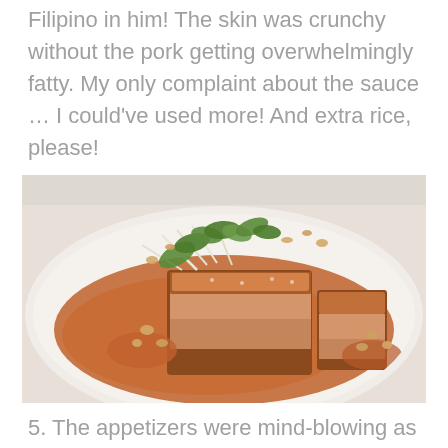Filipino in him! The skin was crunchy without the pork getting overwhelmingly fatty. My only complaint about the sauce … I could've used more! And extra rice, please!
[Figure (photo): A plate of Filipino-style pork dish with crispy skin, served in a rich brown sauce on a white plate, garnished with fresh herbs, bean sprouts, and pork cracklings.]
5. The appetizers were mind-blowing as